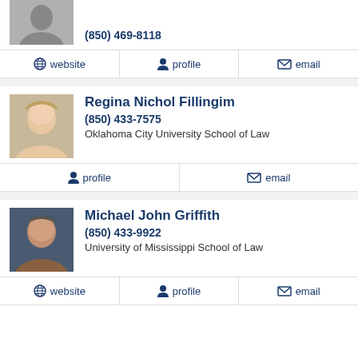(850) 469-8118
website | profile | email
Regina Nichol Fillingim
(850) 433-7575
Oklahoma City University School of Law
profile | email
Michael John Griffith
(850) 433-9922
University of Mississippi School of Law
website | profile | email